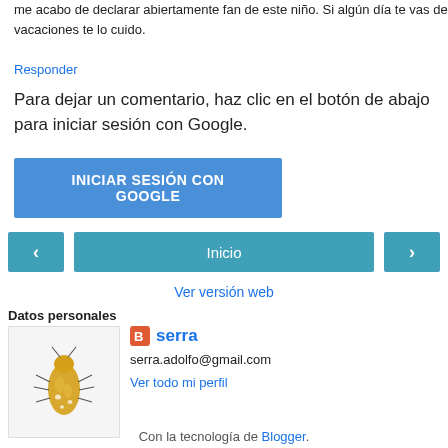me acabo de declarar abiertamente fan de este niño. Si algún día te vas de vacaciones te lo cuido.
Responder
Para dejar un comentario, haz clic en el botón de abajo para iniciar sesión con Google.
[Figure (screenshot): Blue button labeled INICIAR SESIÓN CON GOOGLE]
[Figure (screenshot): Navigation bar with left arrow, Inicio center button, and right arrow]
Ver versión web
Datos personales
[Figure (photo): Profile picture showing a yellow insect/bug on white background]
serra
serra.adolfo@gmail.com
Ver todo mi perfil
Con la tecnología de Blogger.